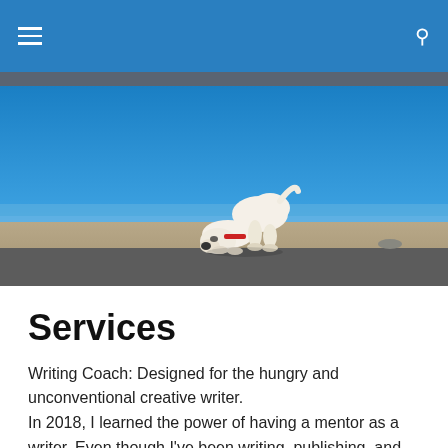Navigation bar with hamburger menu and search icon
[Figure (photo): A white dog playing or bowing on a sandy beach under a bright blue sky, with the ocean visible in the background.]
Services
Writing Coach: Designed for the hungry and unconventional creative writer. In 2018, I learned the power of having a mentor as a writer. Even though I've been writing, publishing, and even winning a few local awards, it was in a vacuum. I had no-